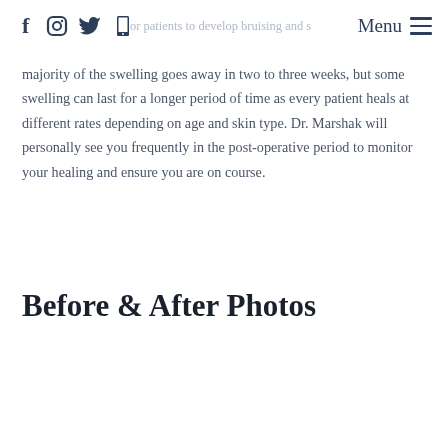f [instagram] [twitter] [phone] or patients to develop bruising and s... Menu ☰
majority of the swelling goes away in two to three weeks, but some swelling can last for a longer period of time as every patient heals at different rates depending on age and skin type. Dr. Marshak will personally see you frequently in the post-operative period to monitor your healing and ensure you are on course.
Before & After Photos